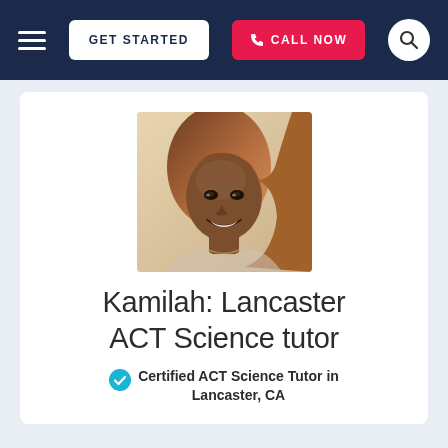[Figure (screenshot): Navigation header bar with hamburger menu, GET STARTED button, CALL NOW button (pink/red), and search icon circle on dark navy background]
[Figure (photo): Portrait photo of Kamilah, a young woman smiling, with long reddish-brown hair, wearing a necklace, against a light outdoor background]
Kamilah: Lancaster ACT Science tutor
Certified ACT Science Tutor in Lancaster, CA